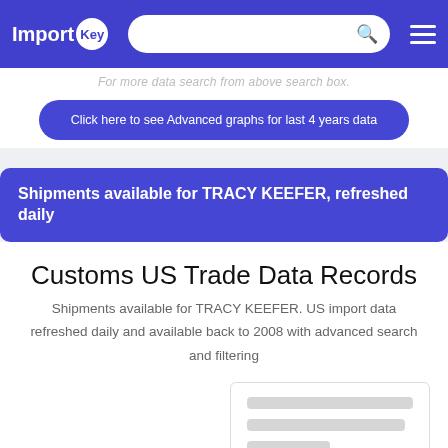ImportKey [logo] [search bar] [menu]
For more data search from above search box.
Click here to see Advanced graphs for last 4 years data
Shipments available for TRACY KEEFER, refreshed daily
Customs US Trade Data Records
Shipments available for TRACY KEEFER. US import data refreshed daily and available back to 2008 with advanced search and filtering